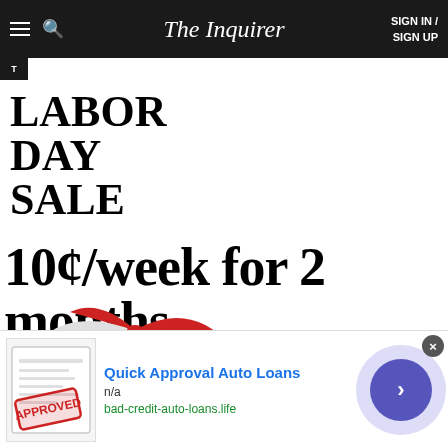The Inquirer — SIGN IN / SIGN UP
LABOR DAY SALE
10¢/week for 2 months
[Figure (illustration): Beach umbrella illustration with red and white striped beach umbrella and yellow bucket]
Quick Approval Auto Loans
n/a
bad-credit-auto-loans.life